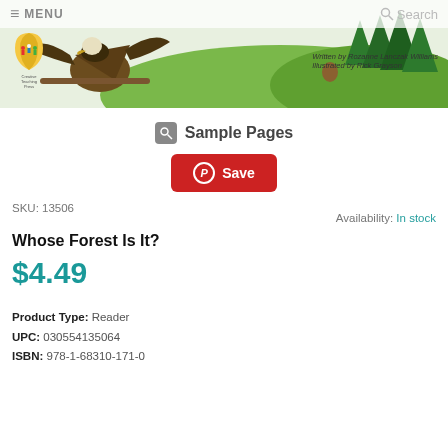[Figure (illustration): Book cover illustration showing an eagle/owl on a branch with a forest background (green trees, hills), with a Creative Teaching Press logo and text 'Written by Rozanne Lanczak Williams, Illustrated by Rick Grayson'. Menu bar and search at top.]
Sample Pages
Save
SKU: 13506
Availability: In stock
Whose Forest Is It?
$4.49
Product Type: Reader
UPC: 030554135064
ISBN: 978-1-68310-171-0